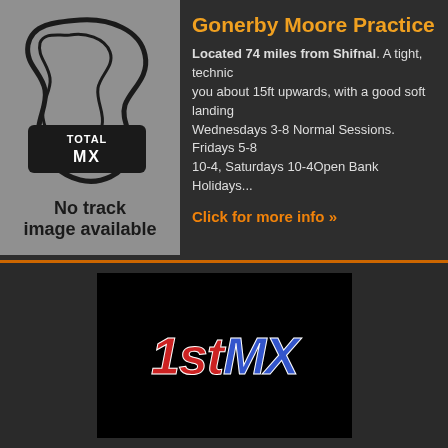[Figure (logo): Total MX logo with track outline on grey background, 'No track image available' text below]
Gonerby Moore Practice Tr
Located 74 miles from Shifnal. A tight, technic... you about 15ft upwards, with a good soft landing... Wednesdays 3-8 Normal Sessions. Fridays 5-8 10-4, Saturdays 10-4Open Bank Holidays...
Click for more info »
[Figure (logo): 1stMX logo: '1st' in red italic with white stroke, 'MX' in blue italic with white stroke, on black background]